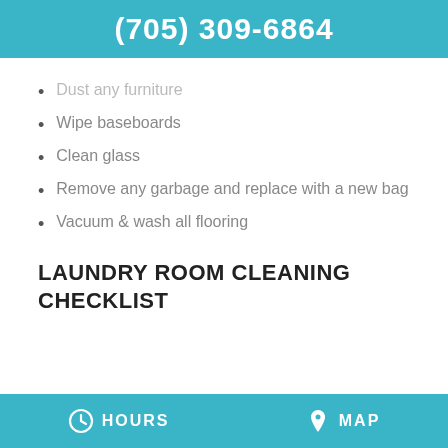(705) 309-6864
Dust any furniture
Wipe baseboards
Clean glass
Remove any garbage and replace with a new bag
Vacuum & wash all flooring
LAUNDRY ROOM CLEANING CHECKLIST
HOURS   MAP